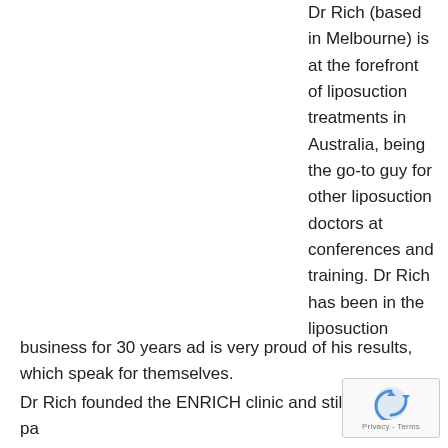Dr Rich (based in Melbourne) is at the forefront of liposuction treatments in Australia, being the go-to guy for other liposuction doctors at conferences and training. Dr Rich has been in the liposuction business for 30 years ad is very proud of his results, which speak for themselves.
Dr Rich founded the ENRICH clinic and still sees patients daily for all dermatological problems, including aesthetic concerns and liposuction treatments. He is a highly-